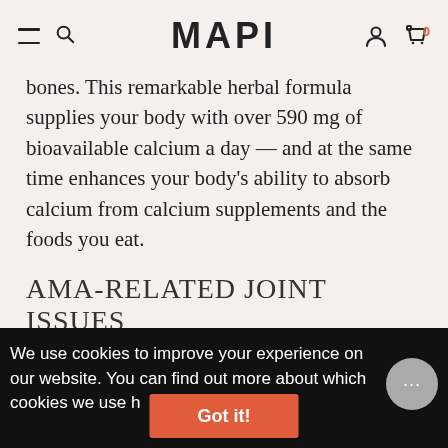MAPI
bones. This remarkable herbal formula supplies your body with over 590 mg of bioavailable calcium a day — and at the same time enhances your body's ability to absorb calcium from calcium supplements and the foods you eat.
AMA-RELATED JOINT ISSUES
Jason's joint issue is associated with ama collecting in the joints, and is characterized
We use cookies to improve your experience on our website. You can find out more about which cookies we use here.
Got it!